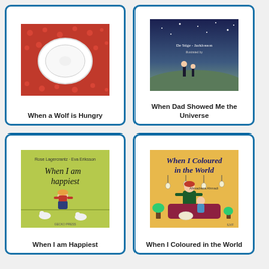[Figure (illustration): Book cover for 'When a Wolf is Hungry' showing a white plate on a red polka-dot tablecloth]
When a Wolf is Hungry
[Figure (illustration): Book cover for 'When Dad Showed Me the Universe' showing two figures on a hill at dusk with text overlay]
When Dad Showed Me the Universe
[Figure (illustration): Book cover for 'When I am Happiest' showing a child sitting curled up with small animals on a green background]
When I am Happiest
[Figure (illustration): Book cover for 'When I Coloured in the World' showing illustrated figures on yellow background with title text]
When I Coloured in the World